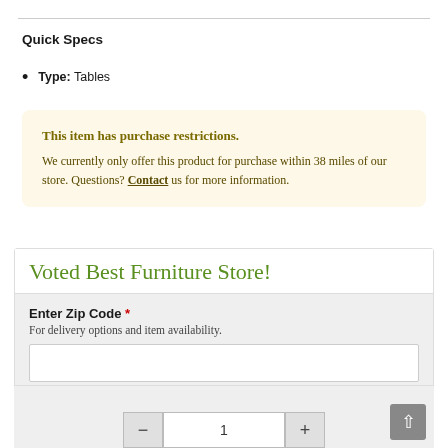Quick Specs
Type: Tables
This item has purchase restrictions.
We currently only offer this product for purchase within 38 miles of our store. Questions? Contact us for more information.
Voted Best Furniture Store!
Enter Zip Code * For delivery options and item availability.